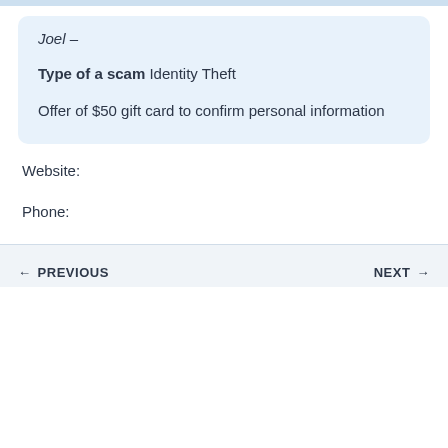Joel –
Type of a scam Identity Theft
Offer of $50 gift card to confirm personal information
Website:
Phone:
← PREVIOUS   NEXT →